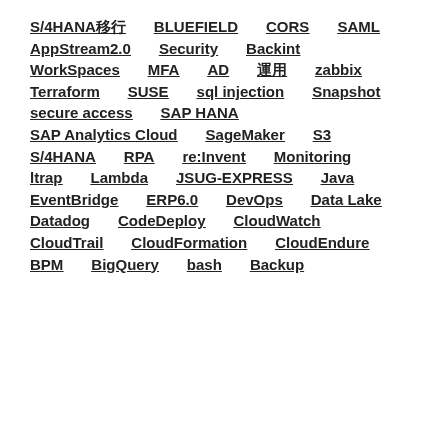S/4HANA移行
BLUEFIELD
CORS
SAML
AppStream2.0
Security
Backint
WorkSpaces
MFA
AD
運用
zabbix
Terraform
SUSE
sql injection
Snapshot
secure access
SAP HANA
SAP Analytics Cloud
SageMaker
S3
S/4HANA
RPA
re:Invent
Monitoring
ltrap
Lambda
JSUG-EXPRESS
Java
EventBridge
ERP6.0
DevOps
Data Lake
Datadog
CodeDeploy
CloudWatch
CloudTrail
CloudFormation
CloudEndure
BPM
BigQuery
bash
Backup